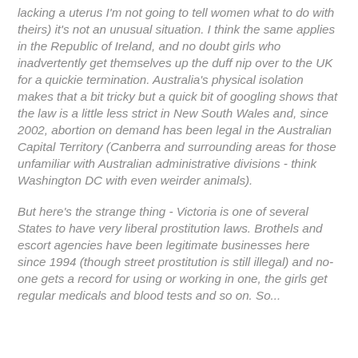lacking a uterus I'm not going to tell women what to do with theirs) it's not an unusual situation. I think the same applies in the Republic of Ireland, and no doubt girls who inadvertently get themselves up the duff nip over to the UK for a quickie termination. Australia's physical isolation makes that a bit tricky but a quick bit of googling shows that the law is a little less strict in New South Wales and, since 2002, abortion on demand has been legal in the Australian Capital Territory (Canberra and surrounding areas for those unfamiliar with Australian administrative divisions - think Washington DC with even weirder animals).
But here's the strange thing - Victoria is one of several States to have very liberal prostitution laws. Brothels and escort agencies have been legitimate businesses here since 1994 (though street prostitution is still illegal) and no-one gets a record for using or working in one, the girls get regular medicals and blood tests and so on. So...